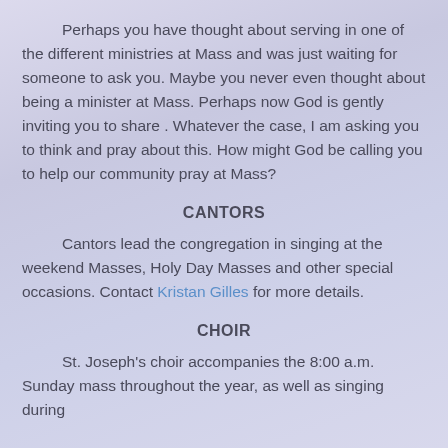Perhaps you have thought about serving in one of the different ministries at Mass and was just waiting for someone to ask you. Maybe you never even thought about being a minister at Mass. Perhaps now God is gently inviting you to share . Whatever the case, I am asking you to think and pray about this. How might God be calling you to help our community pray at Mass?
CANTORS
Cantors lead the congregation in singing at the weekend Masses, Holy Day Masses and other special occasions. Contact Kristan Gilles for more details.
CHOIR
St. Joseph's choir accompanies the 8:00 a.m. Sunday mass throughout the year, as well as singing during